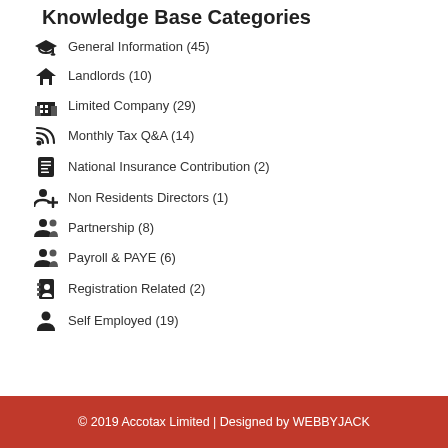Knowledge Base Categories
General Information (45)
Landlords (10)
Limited Company (29)
Monthly Tax Q&A (14)
National Insurance Contribution (2)
Non Residents Directors (1)
Partnership (8)
Payroll & PAYE (6)
Registration Related (2)
Self Employed (19)
© 2019 Accotax Limited | Designed by WEBBYJACK